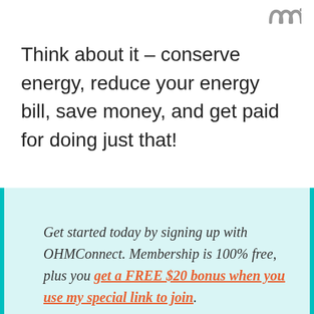Think about it – conserve energy, reduce your energy bill, save money, and get paid for doing just that!
Get started today by signing up with OHMConnect. Membership is 100% free, plus you get a FREE $20 bonus when you use my special link to join.